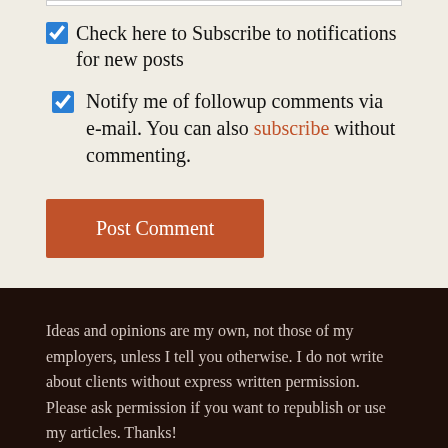Check here to Subscribe to notifications for new posts
Notify me of followup comments via e-mail. You can also subscribe without commenting.
Post Comment
Ideas and opinions are my own, not those of my employers, unless I tell you otherwise. I do not write about clients without express written permission. Please ask permission if you want to republish or use my articles. Thanks!